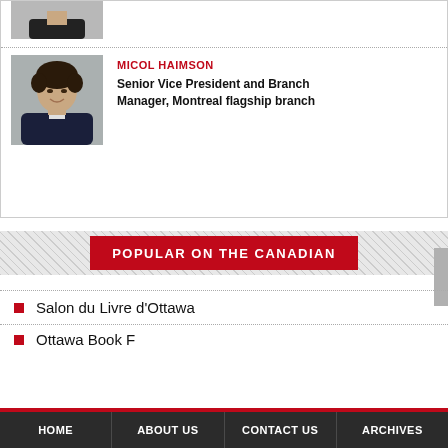[Figure (photo): Partial photo of a person (top of head / previous card), cropped at top]
[Figure (photo): Headshot of Micol Haimson, woman with short dark hair, wearing dark blazer, gray background]
MICOL HAIMSON
Senior Vice President and Branch Manager, Montreal flagship branch
POPULAR ON THE CANADIAN
Salon du Livre d'Ottawa
Ottawa Book F...
HOME  ABOUT US  CONTACT US  ARCHIVES